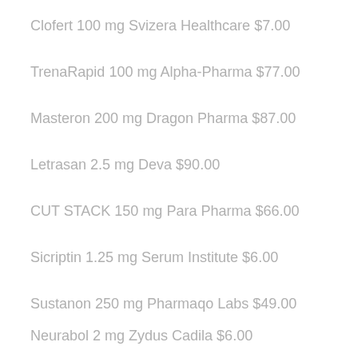Clofert 100 mg Svizera Healthcare $7.00
TrenaRapid 100 mg Alpha-Pharma $77.00
Masteron 200 mg Dragon Pharma $87.00
Letrasan 2.5 mg Deva $90.00
CUT STACK 150 mg Para Pharma $66.00
Sicriptin 1.25 mg Serum Institute $6.00
Sustanon 250 mg Pharmaqo Labs $49.00
Neurabol 2 mg Zydus Cadila $6.00